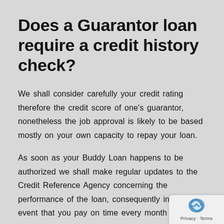Does a Guarantor loan require a credit history check?
We shall consider carefully your credit rating therefore the credit score of one's guarantor, nonetheless the job approval is likely to be based mostly on your own capacity to repay your loan.
As soon as your Buddy Loan happens to be authorized we shall make regular updates to the Credit Reference Agency concerning the performance of the loan, consequently in the event that you pay on time every month the